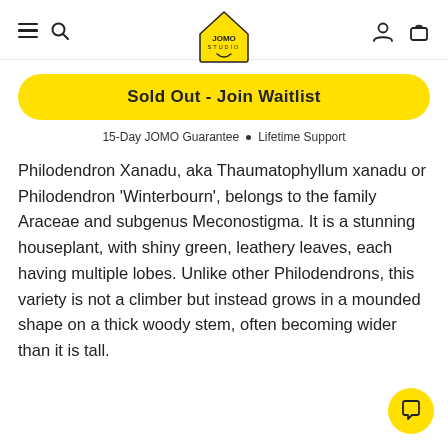JOMO STUDIO
Sold Out - Join Waitlist
15-Day JOMO Guarantee • Lifetime Support
Philodendron Xanadu, aka Thaumatophyllum xanadu or Philodendron 'Winterbourn', belongs to the family Araceae and subgenus Meconostigma. It is a stunning houseplant, with shiny green, leathery leaves, each having multiple lobes. Unlike other Philodendrons, this variety is not a climber but instead grows in a mounded shape on a thick woody stem, often becoming wider than it is tall.